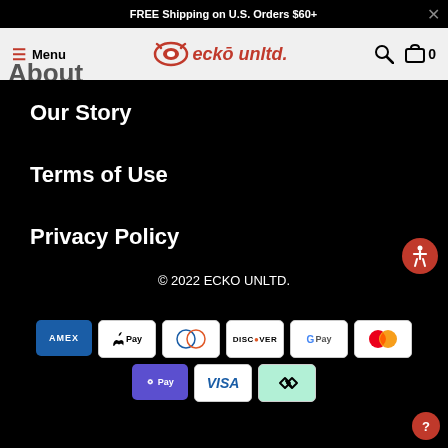FREE Shipping on U.S. Orders $60+
[Figure (logo): Ecko Unltd navigation bar with hamburger menu, rhino logo, search and cart icons]
About
Our Story
Terms of Use
Privacy Policy
© 2022 ECKO UNLTD.
[Figure (other): Payment method icons: AMEX, Apple Pay, Diners Club, Discover, Google Pay, Mastercard, O Pay, Visa, Afterpay]